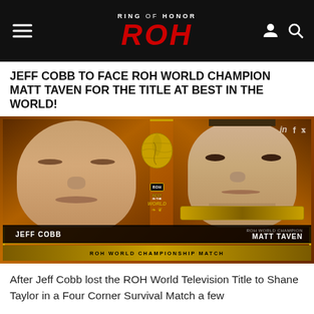Ring of Honor ROH
JEFF COBB TO FACE ROH WORLD CHAMPION MATT TAVEN FOR THE TITLE AT BEST IN THE WORLD!
[Figure (photo): Match card graphic showing Jeff Cobb on the left and ROH World Champion Matt Taven on the right, with 'Best in the World' event branding in the center and 'ROH World Championship Match' text at the bottom.]
After Jeff Cobb lost the ROH World Television Title to Shane Taylor in a Four Corner Survival Match a few